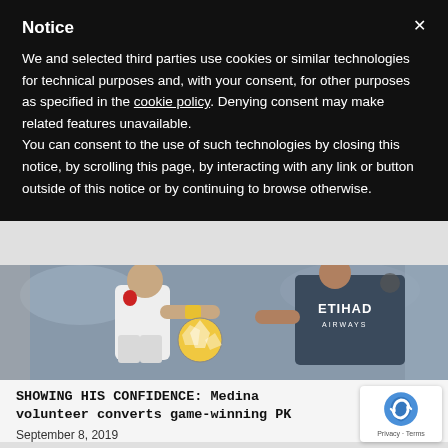Notice
We and selected third parties use cookies or similar technologies for technical purposes and, with your consent, for other purposes as specified in the cookie policy. Denying consent may make related features unavailable.
You can consent to the use of such technologies by closing this notice, by scrolling this page, by interacting with any link or button outside of this notice or by continuing to browse otherwise.
[Figure (photo): Two soccer players competing for the ball during a match. One player wears a white jersey, the other wears a dark Etihad Airways jersey.]
SHOWING HIS CONFIDENCE: Medina volunteer converts game-winning PK
September 8, 2019